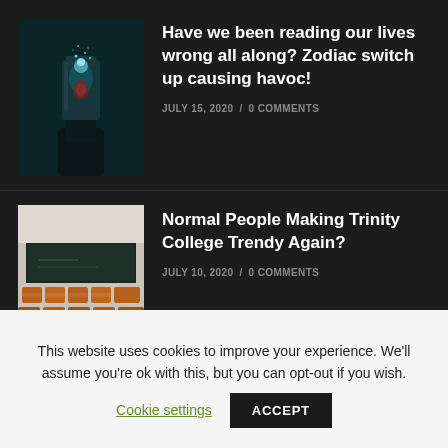[Figure (photo): Dark photo of a hand holding a glass jar with glowing particles/fireflies inside, teal/dark background]
Have we been reading our lives wrong all along? Zodiac switch up causing havoc!
JULY 15, 2020 / 0 COMMENTS
[Figure (photo): Photo of an empty lecture hall/auditorium with rows of orange/wooden seats and a chalkboard at the front]
Normal People Making Trinity College Trendy Again?
JULY 10, 2020 / 0 COMMENTS
This website uses cookies to improve your experience. We'll assume you're ok with this, but you can opt-out if you wish.
Cookie settings  ACCEPT